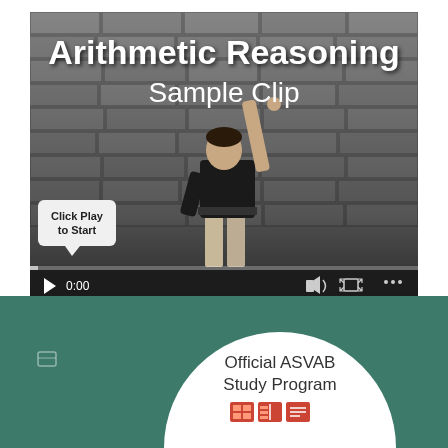[Figure (screenshot): Video player thumbnail showing 'Arithmetic Reasoning Sample Clip' with a man standing in front of a brick wall, video controls including play button showing 0:00 timestamp, and a 'Click Play to Start' speech bubble callout.]
[Figure (logo): Official ASVAB Study Program logo — circular white badge with program name and small icons, on a teal/green background.]